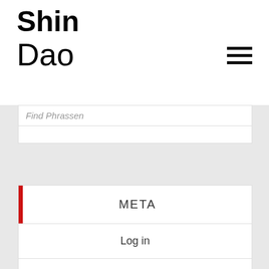Shin Dao
Find Phrassen
META
Log in
Entries feed
Comments feed
WordPress.org